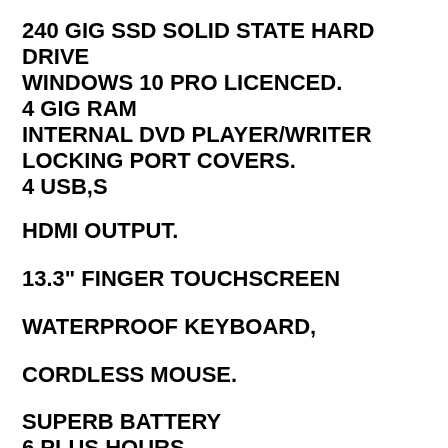240 GIG SSD SOLID STATE HARD DRIVE
WINDOWS 10 PRO LICENCED.
4 GIG RAM
INTERNAL DVD PLAYER/WRITER
LOCKING PORT COVERS.
4 USB,S
HDMI OUTPUT.
13.3" FINGER TOUCHSCREEN
WATERPROOF  KEYBOARD,
CORDLESS MOUSE.
SUPERB BATTERY
6 PLUS HOURS
SLIGHT PAINT DAMAGE TO SCREEN